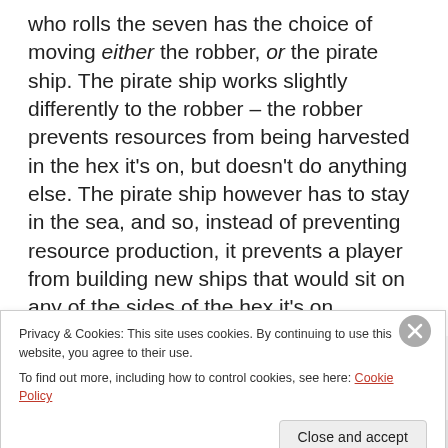who rolls the seven has the choice of moving either the robber, or the pirate ship. The pirate ship works slightly differently to the robber – the robber prevents resources from being harvested in the hex it's on, but doesn't do anything else. The pirate ship however has to stay in the sea, and so, instead of preventing resource production, it prevents a player from building new ships that would sit on any of the sides of the hex it's on.
Privacy & Cookies: This site uses cookies. By continuing to use this website, you agree to their use.
To find out more, including how to control cookies, see here: Cookie Policy
Close and accept